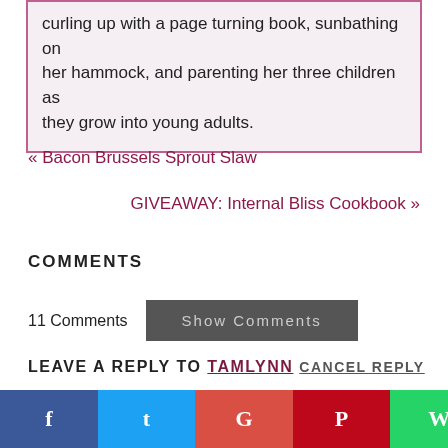curling up with a page turning book, sunbathing on her hammock, and parenting her three children as they grow into young adults.
« Bacon Brussels Sprout Slaw
GIVEAWAY: Internal Bliss Cookbook »
COMMENTS
11 Comments
Show Comments
LEAVE A REPLY TO TAMLYNN CANCEL REPLY
Your email address will not be published. Required fields are